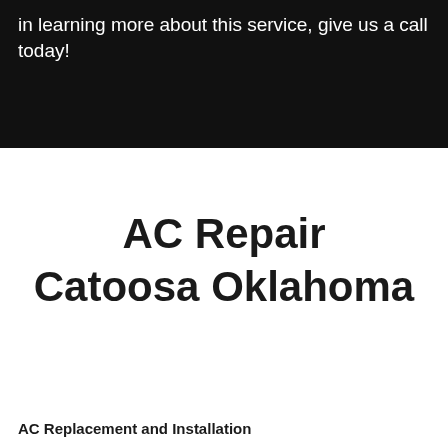in learning more about this service, give us a call today!
AC Repair Catoosa Oklahoma
AC Replacement and Installation